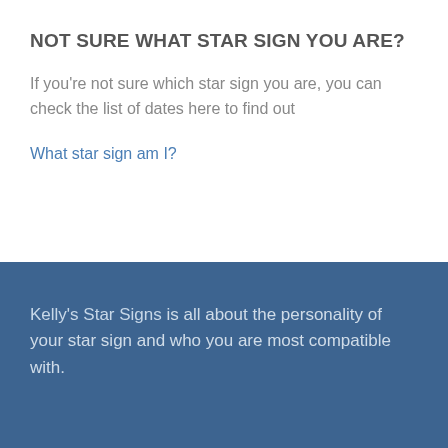NOT SURE WHAT STAR SIGN YOU ARE?
If you’re not sure which star sign you are, you can check the list of dates here to find out
What star sign am I?
Kelly’s Star Signs is all about the personality of your star sign and who you are most compatible with.